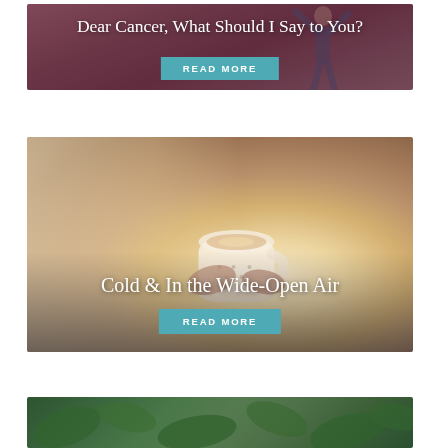[Figure (photo): A person with arms raised against a mauve/dusty rose background, with title 'Dear Cancer, What Should I Say to You?' and a teal 'READ MORE' button]
[Figure (photo): Hands holding a coffee/tea mug with a cozy warm blanket background, with title 'Cold & In the Wide-Open Air' and a teal 'READ MORE' button]
[Figure (photo): Bottom portion of a third article card showing green foliage, partially cut off]